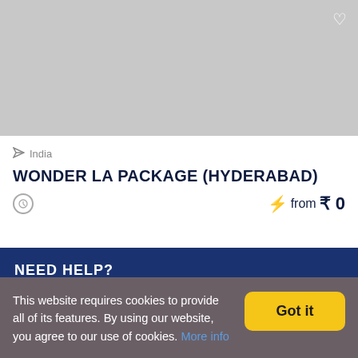[Figure (photo): Gray placeholder image for a travel package]
India
WONDER LA PACKAGE (HYDERABAD)
from ₹ 0
NEED HELP?
Call Us
This website requires cookies to provide all of its features. By using our website, you agree to our use of cookies. More info